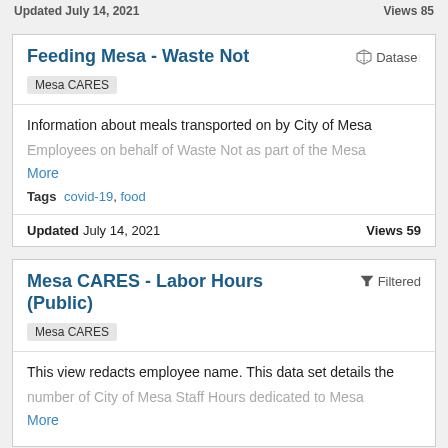Updated July 14, 2021    Views 85
Feeding Mesa - Waste Not
Mesa CARES
Dataset
Information about meals transported on by City of Mesa Employees on behalf of Waste Not as part of the Mesa More
Tags  covid-19, food
Updated July 14, 2021    Views 59
Mesa CARES - Labor Hours (Public)
Mesa CARES
Filtered
This view redacts employee name. This data set details the number of City of Mesa Staff Hours dedicated to Mesa More